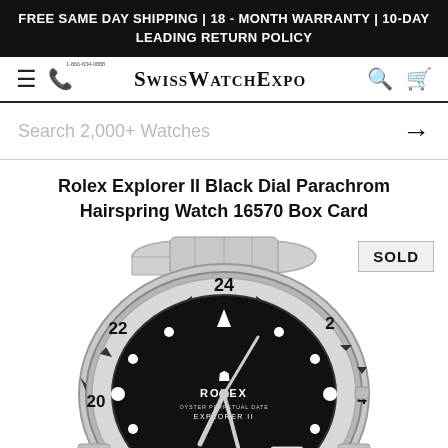FREE SAME DAY SHIPPING | 18 - MONTH WARRANTY | 10-DAY LEADING RETURN POLICY
[Figure (logo): SwissWatchExpo website navigation bar with hamburger menu, phone icon, SwissWatchExpo logo, search icon, and cart icon]
Search 2,000+ Watches →
Rolex Explorer II Black Dial Parachrom Hairspring Watch 16570 Box Card
[Figure (photo): Close-up photo of a Rolex Explorer II watch with black dial, steel case and bracelet, bezel marked with 24-hour numerals (2, 4, 8, 20, 22, 24), Rolex crown logo, and text reading ROLEX OYSTER PERPETUAL DATE EXPLORER II. A SOLD badge is shown in the upper right corner.]